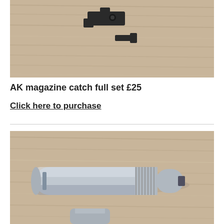[Figure (photo): Black AK magazine catch parts (lever and spring/plunger components) on a wooden surface]
AK magazine catch full set £25
Click here to purchase
[Figure (photo): Silver/aluminum cylindrical tool (appears to be a choke tool or barrel insert) on a wooden surface]